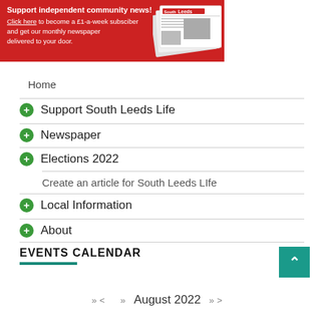[Figure (infographic): Red banner advertisement: Support independent community news! Click here to become a £1-a-week subscriber and get our monthly newspaper delivered to your door. With image of South Leeds Life newspapers.]
Home
Support South Leeds Life
Newspaper
Elections 2022
Create an article for South Leeds LIfe
Local Information
About
EVENTS CALENDAR
August 2022